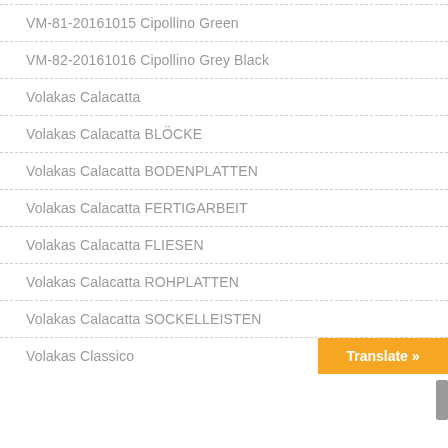VM-81-20161015 Cipollino Green
VM-82-20161016 Cipollino Grey Black
Volakas Calacatta
Volakas Calacatta BLÖCKE
Volakas Calacatta BODENPLATTEN
Volakas Calacatta FERTIGARBEIT
Volakas Calacatta FLIESEN
Volakas Calacatta ROHPLATTEN
Volakas Calacatta SOCKELLEISTEN
Volakas Classico